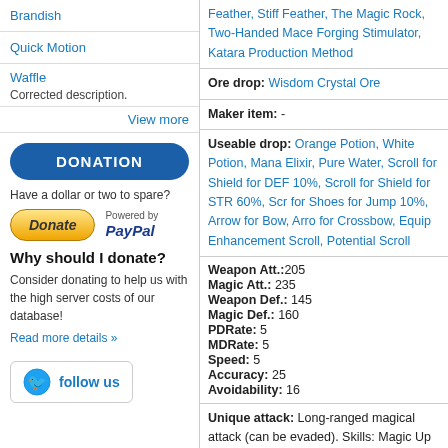Brandish
Quick Motion
Waffle
Corrected description.
View more
DONATION
Have a dollar or two to spare?
[Figure (other): PayPal Donate button with 'Powered by PayPal' label]
Why should I donate?
Consider donating to help us with the high server costs of our database!
Read more details »
[Figure (other): Twitter Follow us button]
Feather, Stiff Feather, The Magic Rock, Two-Handed Mace Forging Stimulator, Katara Production Method
Ore drop: Wisdom Crystal Ore
Maker item: -
Useable drop: Orange Potion, White Potion, Mana Elixir, Pure Water, Scroll for Shield for DEF 10%, Scroll for Shield for STR 60%, Scr for Shoes for Jump 10%, Arrow for Bow, Arro for Crossbow, Equip Enhancement Scroll, Potential Scroll
Weapon Att.:205
Magic Att.: 235
Weapon Def.: 145
Magic Def.: 160
PDRate: 5
MDRate: 5
Speed: 5
Accuracy: 25
Avoidability: 16
Unique attack: Long-ranged magical attack (can be evaded). Skills: Magic Up Level 1